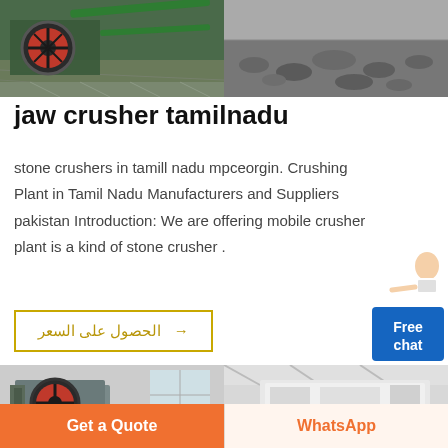[Figure (photo): Two factory/industrial facility photos side by side at the top - left shows green machinery on factory floor, right shows outdoor rocky/gravel area]
jaw crusher tamilnadu
stone crushers in tamill nadu mpceorgin. Crushing Plant in Tamil Nadu Manufacturers and Suppliers pakistan Introduction: We are offering mobile crusher plant is a kind of stone crusher .
[Figure (illustration): Free chat widget with person illustration in top-right corner]
→  الحصول على السعر
[Figure (photo): Two industrial crusher machine photos side by side - left shows jaw crusher with red flywheel in factory, right shows large white/grey industrial equipment in warehouse]
jaw crusher tamilnadu (partial, bottom cut off)
Get a Quote
WhatsApp